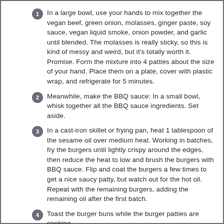In a large bowl, use your hands to mix together the vegan beef, green onion, molasses, ginger paste, soy sauce, vegan liquid smoke, onion powder, and garlic until blended. The molasses is really sticky, so this is kind of messy and weird, but it's totally worth it. Promise. Form the mixture into 4 patties about the size of your hand. Place them on a plate, cover with plastic wrap, and refrigerate for 5 minutes.
Meanwhile, make the BBQ sauce: In a small bowl, whisk together all the BBQ sauce ingredients. Set aside.
In a cast-iron skillet or frying pan, heat 1 tablespoon of the sesame oil over medium heat. Working in batches, fry the burgers until lightly crispy around the edges, then reduce the heat to low and brush the burgers with BBQ sauce. Flip and coat the burgers a few times to get a nice saucy patty, but watch out for the hot oil. Repeat with the remaining burgers, adding the remaining oil after the first batch.
Toast the burger buns while the burger patties are cooking.